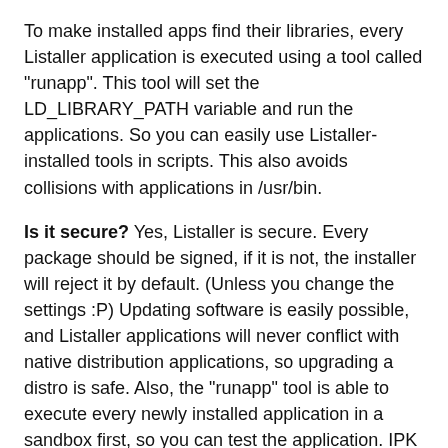To make installed apps find their libraries, every Listaller application is executed using a tool called "runapp". This tool will set the LD_LIBRARY_PATH variable and run the applications. So you can easily use Listaller-installed tools in scripts. This also avoids collisions with applications in /usr/bin.
Is it secure? Yes, Listaller is secure. Every package should be signed, if it is not, the installer will reject it by default. (Unless you change the settings :P) Updating software is easily possible, and Listaller applications will never conflict with native distribution applications, so upgrading a distro is safe. Also, the "runapp" tool is able to execute every newly installed application in a sandbox first, so you can test the application. IPK packages don't have much possibilities to damage the system, because they don't contain custom scripts. So, yes, Listaller is secure. Only the user could do the wrong thing 😛
Okay, this was a quick, but still far too long information about what keeps me busy. 😐 Listaller has very few developers